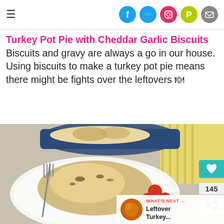≡  [social icons: Facebook, Twitter, Instagram, Pinterest, Email]
Turkey Pot Pie with Cheddar Garlic Biscuits Biscuits and gravy are always a go in our house. Using biscuits to make a turkey pot pie means there might be fights over the leftovers 🍽
[Figure (photo): Photo of a turkey pot pie with cheddar garlic biscuit topping on a white plate with cherry tomatoes and a fork, with a blue baking dish in the background. Overlay elements: heart/like button showing 145, share button, and a 'What's Next → Leftover Turkey...' thumbnail.]